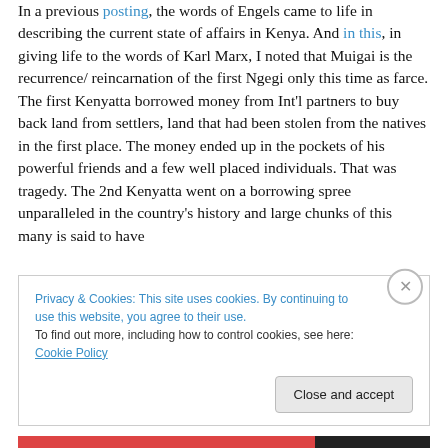In a previous posting, the words of Engels came to life in describing the current state of affairs in Kenya. And in this, in giving life to the words of Karl Marx, I noted that Muigai is the recurrence/ reincarnation of the first Ngegi only this time as farce. The first Kenyatta borrowed money from Int'l partners to buy back land from settlers, land that had been stolen from the natives in the first place. The money ended up in the pockets of his powerful friends and a few well placed individuals. That was tragedy. The 2nd Kenyatta went on a borrowing spree unparalleled in the country's history and large chunks of this many is said to have
Privacy & Cookies: This site uses cookies. By continuing to use this website, you agree to their use. To find out more, including how to control cookies, see here: Cookie Policy